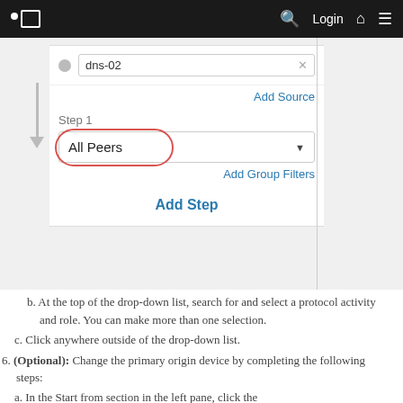[Figure (screenshot): Web application UI screenshot showing a navigation bar at top with logo, search, Login, home, and menu icons. Below is a form panel with a dns-02 input field, Add Source link, a Step 1 dropdown showing 'All Peers' (circled in red), Add Group Filters link, and an Add Step button. A downward arrow points to the Step 1 dropdown.]
b. At the top of the drop-down list, search for and select a protocol activity and role. You can make more than one selection.
c. Click anywhere outside of the drop-down list.
6. (Optional): Change the primary origin device by completing the following steps:
a. In the Start from section in the left pane, click the